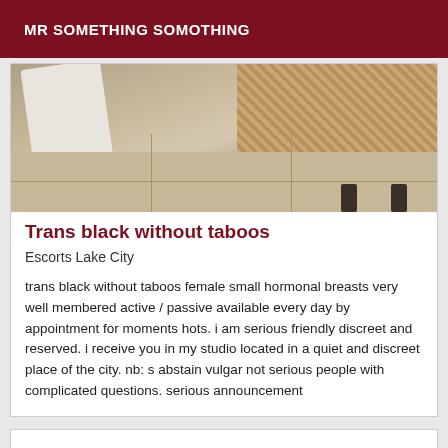MR SOMETHING SOMOTHING
[Figure (photo): Partial photo showing white cloth/towel draped over wicker furniture with tiled floor visible]
Trans black without taboos
Escorts Lake City
trans black without taboos female small hormonal breasts very well membered active / passive available every day by appointment for moments hots. i am serious friendly discreet and reserved. i receive you in my studio located in a quiet and discreet place of the city. nb: s abstain vulgar not serious people with complicated questions. serious announcement